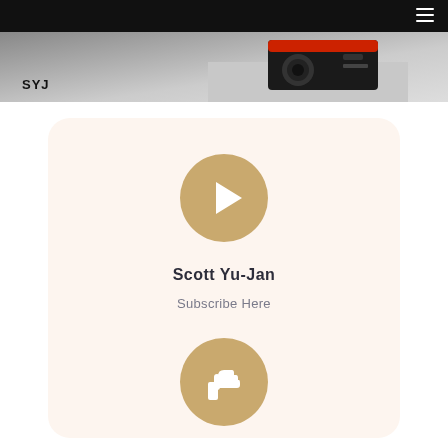[Figure (photo): SYJ branded header image showing a camera/recording device with red and black elements on a light background, with 'SYJ' text label in the lower left.]
[Figure (illustration): Rounded card with beige/cream background containing: a gold circular play button icon, bold text 'Scott Yu-Jan', subtitle 'Subscribe Here', and a gold circular thumbs-up icon below.]
Scott Yu-Jan
Subscribe Here